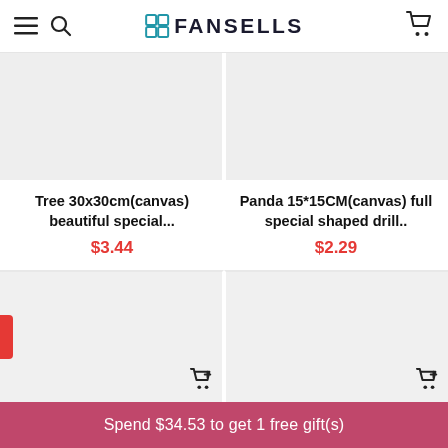FANSELLS
Tree 30x30cm(canvas) beautiful special... $3.44
Panda 15*15CM(canvas) full special shaped drill.. $2.29
[Figure (other): Two product image placeholders (bottom row)]
Spend $34.53 to get 1 free gift(s)